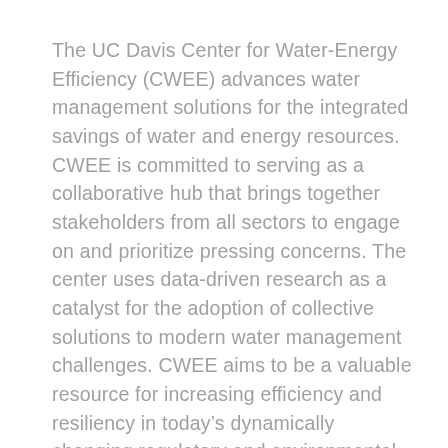The UC Davis Center for Water-Energy Efficiency (CWEE) advances water management solutions for the integrated savings of water and energy resources. CWEE is committed to serving as a collaborative hub that brings together stakeholders from all sectors to engage on and prioritize pressing concerns. The center uses data-driven research as a catalyst for the adoption of collective solutions to modern water management challenges. CWEE aims to be a valuable resource for increasing efficiency and resiliency in today's dynamically changing regulatory and environmental climate.